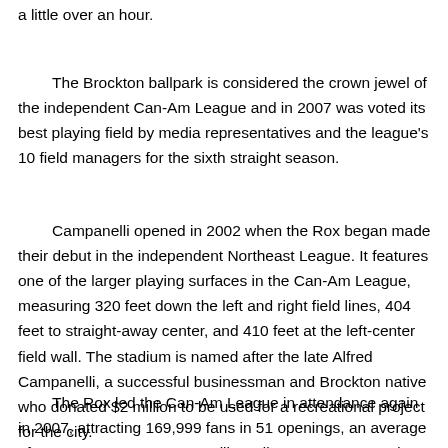a little over an hour.
The Brockton ballpark is considered the crown jewel of the independent Can-Am League and in 2007 was voted its best playing field by media representatives and the league's 10 field managers for the sixth straight season.
Campanelli opened in 2002 when the Rox began made their debut in the independent Northeast League. It features one of the larger playing surfaces in the Can-Am League, measuring 320 feet down the left and right field lines, 404 feet to straight-away center, and 410 feet at the left-center field wall. The stadium is named after the late Alfred Campanelli, a successful businessman and Brockton native who donated $2 million to be used for a recreational project for the city.
The Rox led the Can-Am League in attendance again in 2007, attracting 169,999 fans in 51 openings, an average of 3,333 per game. Campanelli Stadium can accommodate up to 6,500 for baseball